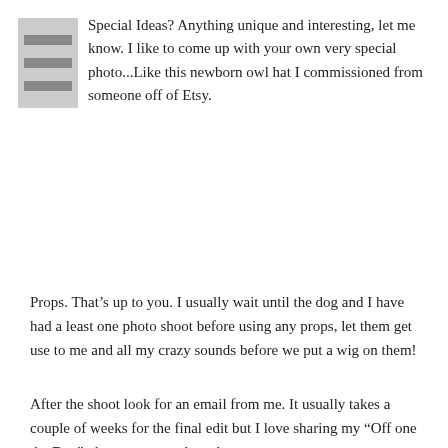[Figure (other): Decorative icon with horizontal lines on a grey background, top-left corner]
Special Ideas? Anything unique and interesting, let me know. I like to come up with your own very special photo...Like this newborn owl hat I commissioned from someone off of Etsy.
Props. That’s up to you. I usually wait until the dog and I have had a least one photo shoot before using any props, let them get use to me and all my crazy sounds before we put a wig on them!
After the shoot look for an email from me. It usually takes a couple of weeks for the final edit but I love sharing my “Off one the Day” photos as a sneak peak.